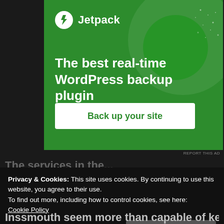[Figure (illustration): Jetpack plugin advertisement banner with green background, Jetpack logo, headline 'The best real-time WordPress backup plugin', and a white 'Back up your site' button]
REPORT THIS AD
The services in the...
Privacy & Cookies: This site uses cookies. By continuing to use this website, you agree to their use.
To find out more, including how to control cookies, see here:
Cookie Policy
Close and accept
Inssmouth seem more than capable of keeping